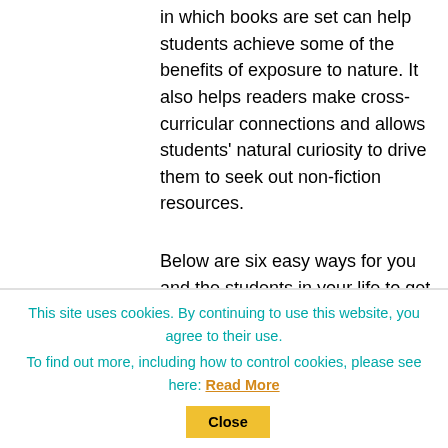in which books are set can help students achieve some of the benefits of exposure to nature. It also helps readers make cross-curricular connections and allows students' natural curiosity to drive them to seek out non-fiction resources.
Below are six easy ways for you and the students in your life to get started.
Begin by collecting several books in which a significant part of the action takes place outdoors. Research shows
This site uses cookies. By continuing to use this website, you agree to their use.
To find out more, including how to control cookies, please see here: Read More